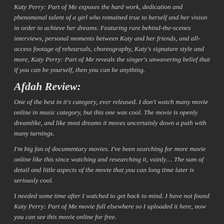Katy Perry: Part of Me exposes the hard work, dedication and phenomenal talent of a girl who remained true to herself and her vision in order to achieve her dreams. Featuring rare behind-the-scenes interviews, personal moments between Katy and her friends, and all-access footage of rehearsals, choreography, Katy's signature style and more, Katy Perry: Part of Me reveals the singer's unwavering belief that if you can be yourself, then you can be anything.
Afdah Review:
One of the best in it's category, ever released. I don't watch many movie online in music category, but this one was cool. The movie is openly dreamlike, and like most dreams it moves uncertainly down a path with many turnings.
I'm big fan of documentary movies. I've been searching for more movie online like this since watching and researching it, vainly… The sum of detail and little aspects of the movie that you can long time later is seriously cool.
I needed some time after I watched to get back to mind. I have not found Katy Perry: Part of Me movie full elsewhere so I uploaded it here, now you can see this movie online for free.
Views: 19
Genre: Documentary, Music
Director: Dan Cutforth, Jane Lipsitz
Actors: Adam Marcello, Casey Hooper, Glen Ballard, Katy Perry, Max